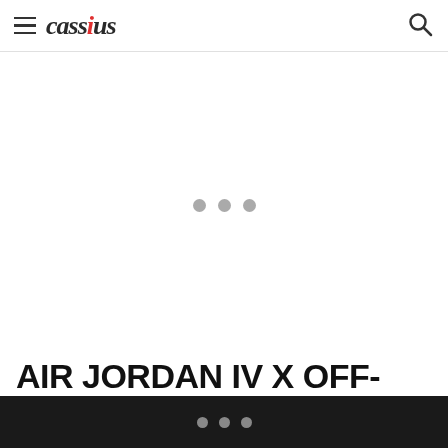cassius
[Figure (screenshot): Loading placeholder with three grey dots centered in a large white area]
AIR JORDAN IV X OFF-WHITE [DETAILED PHOTOS]
loading indicator dots